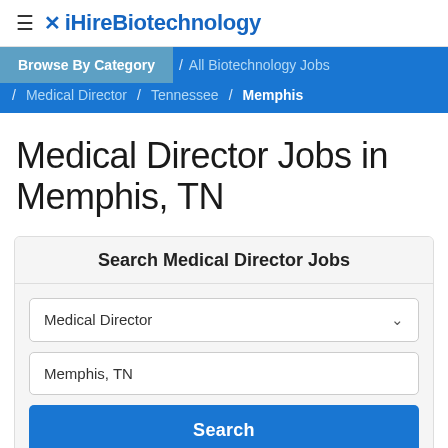≡ iHireBiotechnology
Browse By Category / All Biotechnology Jobs / Medical Director / Tennessee / Memphis
Medical Director Jobs in Memphis, TN
Search Medical Director Jobs
Medical Director
Memphis, TN
Search